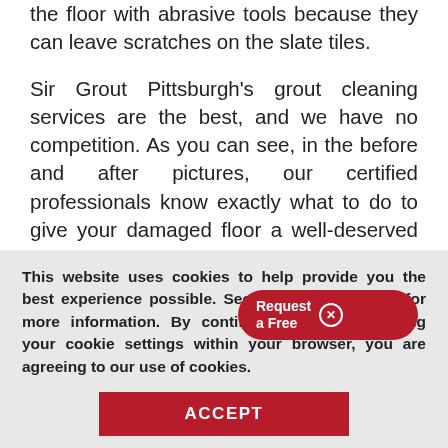the floor with abrasive tools because they can leave scratches on the slate tiles.
Sir Grout Pittsburgh's grout cleaning services are the best, and we have no competition. As you can see, in the before and after pictures, our certified professionals know exactly what to do to give your damaged floor a well-deserved renovation. As a leading company in the hard surface restoration industry, we have years of experience providing reliable solutions to confident...
This website uses cookies to help provide you the best experience possible. See our Privacy Policy for more information. By continuing without changing your cookie settings within your browser, you are agreeing to our use of cookies.